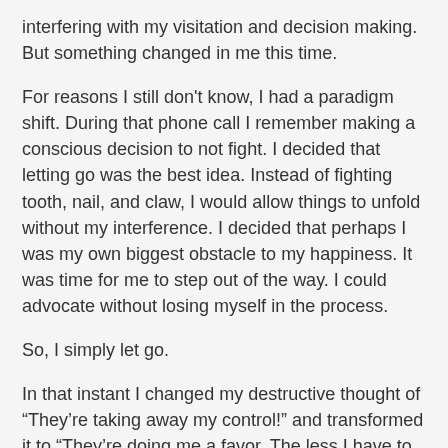interfering with my visitation and decision making. But something changed in me this time.
For reasons I still don't know, I had a paradigm shift. During that phone call I remember making a conscious decision to not fight. I decided that letting go was the best idea. Instead of fighting tooth, nail, and claw, I would allow things to unfold without my interference. I decided that perhaps I was my own biggest obstacle to my happiness. It was time for me to step out of the way. I could advocate without losing myself in the process.
So, I simply let go.
In that instant I changed my destructive thought of “They’re taking away my control!” and transformed it to “They’re doing me a favor. The less I have to be involved in this particular situation, the more peace I’ll have. It’s